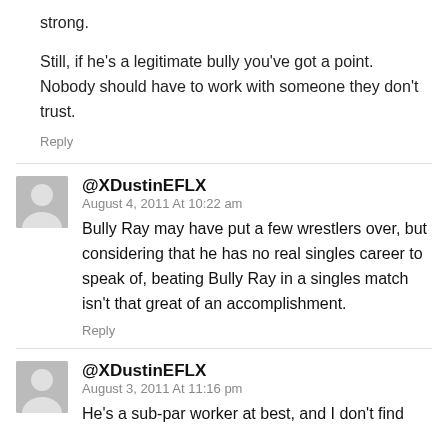strong.
Still, if he's a legitimate bully you've got a point. Nobody should have to work with someone they don't trust.
Reply
@XDustinEFLX
August 4, 2011 At 10:22 am
Bully Ray may have put a few wrestlers over, but considering that he has no real singles career to speak of, beating Bully Ray in a singles match isn't that great of an accomplishment.
Reply
@XDustinEFLX
August 3, 2011 At 11:16 pm
He's a sub-par worker at best, and I don't find